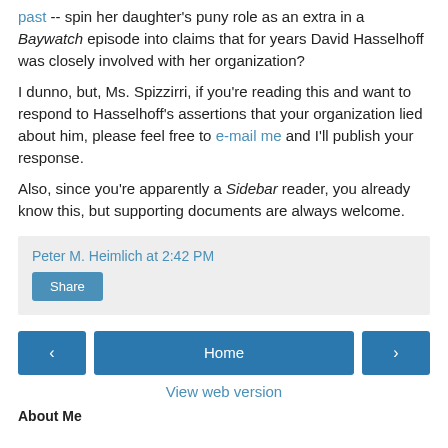past -- spin her daughter's puny role as an extra in a Baywatch episode into claims that for years David Hasselhoff was closely involved with her organization?
I dunno, but, Ms. Spizzirri, if you're reading this and want to respond to Hasselhoff's assertions that your organization lied about him, please feel free to e-mail me and I'll publish your response.
Also, since you're apparently a Sidebar reader, you already know this, but supporting documents are always welcome.
Peter M. Heimlich at 2:42 PM
Share
Home
View web version
About Me